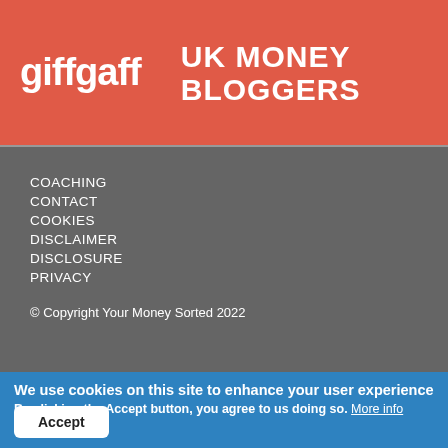[Figure (logo): giffgaff logo and UK Money Bloggers logo on coral/red background]
COACHING
CONTACT
COOKIES
DISCLAIMER
DISCLOSURE
PRIVACY
© Copyright Your Money Sorted 2022
We use cookies on this site to enhance your user experience
By clicking the Accept button, you agree to us doing so. More info
Accept